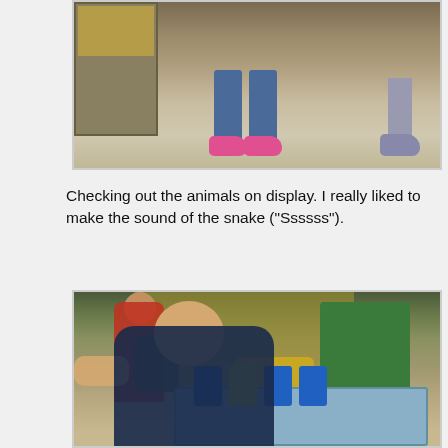[Figure (photo): Photo of a child's feet wearing pink shoes standing on a tan/brown floor, with another person's gray shoe visible at the right edge. A metal/wooden box with grain or food contents is visible on the left.]
Checking out the animals on display. I really liked to make the sound of the snake (“Ssssss”).
[Figure (photo): Photo inside a children's museum or science center. A young child with a headband leans over a table with blue and yellow blocks/trays. An adult hand is visible beside the child. In the background are museum exhibits with green and brown boards, a yellow diamond-shaped sign, a yellow table, and another child in a red top with a gray bag.]